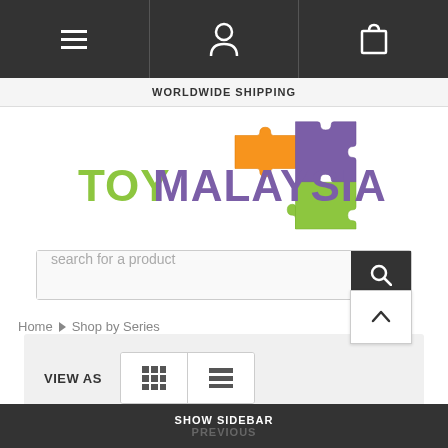[Figure (screenshot): Top navigation bar with hamburger menu, user/account icon, and shopping cart icon on dark background]
WORLDWIDE SHIPPING
[Figure (logo): ToyMalaysia logo with puzzle piece graphics in orange, purple and green]
search for a product
Home > Shop by Series
VIEW AS
SORT BY: Featured Items
SHOW SIDEBAR
PREVIOUS